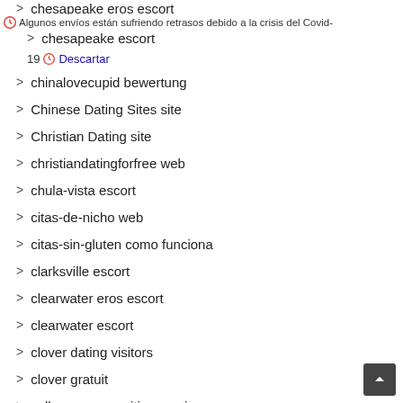chesapeake eros escort
Algunos envíos están sufriendo retrasos debido a la crisis del Covid- 19  Descartar
chesapeake escort
chinalovecupid bewertung
Chinese Dating Sites site
Christian Dating site
christiandatingforfree web
chula-vista escort
citas-de-nicho web
citas-sin-gluten como funciona
clarksville escort
clearwater eros escort
clearwater escort
clover dating visitors
clover gratuit
college essay writing services